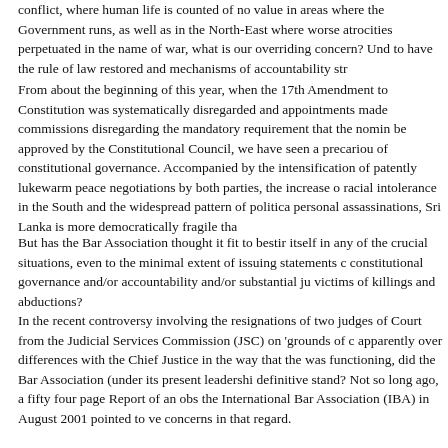conflict, where human life is counted of no value in areas where the Government runs, as well as in the North-East where worse atrocities are perpetuated in the name of war, what is our overriding concern? Undoubtedly, to have the rule of law restored and mechanisms of accountability str
From about the beginning of this year, when the 17th Amendment to the Constitution was systematically disregarded and appointments made to commissions disregarding the mandatory requirement that the nominations be approved by the Constitutional Council, we have seen a precarious state of constitutional governance. Accompanied by the intensification of the patently lukewarm peace negotiations by both parties, the increase of racial intolerance in the South and the widespread pattern of political and personal assassinations, Sri Lanka is more democratically fragile tha
But has the Bar Association thought it fit to bestir itself in any of these crucial situations, even to the minimal extent of issuing statements calling for constitutional governance and/or accountability and/or substantial justice for victims of killings and abductions?
In the recent controversy involving the resignations of two judges of the Court from the Judicial Services Commission (JSC) on 'grounds of conscience', apparently over differences with the Chief Justice in the way that the JSC was functioning, did the Bar Association (under its present leadership) take a definitive stand? Not so long ago, a fifty four page Report of an observer of the International Bar Association (IBA) in August 2001 pointed to very serious concerns in that regard.